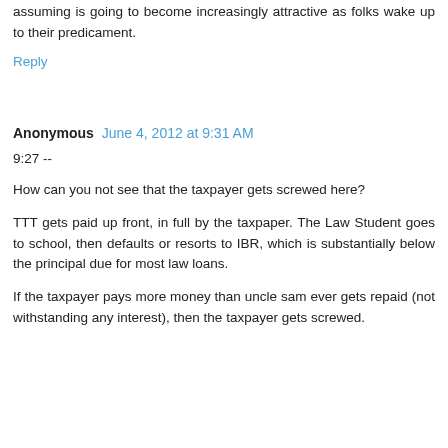co-signed for the loan(s).
The only way to escape this monster is to flee the country, which I'm assuming is going to become increasingly attractive as folks wake up to their predicament.
Reply
Anonymous  June 4, 2012 at 9:31 AM
9:27 --
How can you not see that the taxpayer gets screwed here?
TTT gets paid up front, in full by the taxpaper. The Law Student goes to school, then defaults or resorts to IBR, which is substantially below the principal due for most law loans.
If the taxpayer pays more money than uncle sam ever gets repaid (not withstanding any interest), then the taxpayer gets screwed.